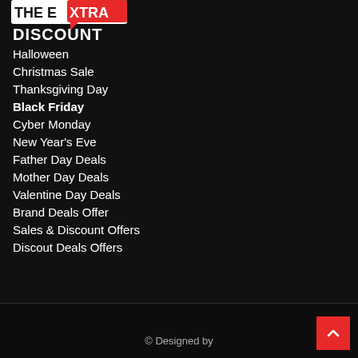[Figure (logo): The Extra Discount logo - white text 'THE E' with red speech bubble containing 'XTRA' and bold white 'DISCOUNT' below]
Halloween
Christmas Sale
Thanksgiving Day
Black Friday
Cyber Monday
New Year's Eve
Father Day Deals
Mother Day Deals
Valentine Day Deals
Brand Deals Offer
Sales & Discount Offers
Discout Deals Offers
© Designed by